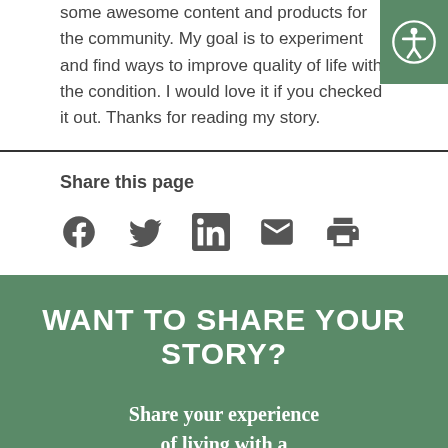some awesome content and products for the community. My goal is to experiment and find ways to improve quality of life with the condition. I would love it if you checked it out. Thanks for reading my story.
[Figure (infographic): Accessibility button icon - green background with circular accessibility person symbol]
Share this page
[Figure (infographic): Social media share icons: Facebook, Twitter, LinkedIn, Email, Print]
WANT TO SHARE YOUR STORY?
Share your experience of living with a digestive disorder, it